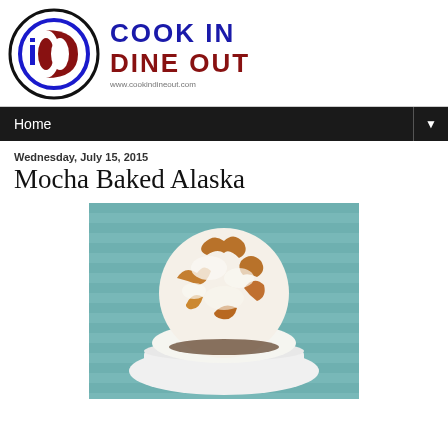[Figure (logo): Cook In Dine Out logo with circular emblem containing letters 'i' and 'D' in blue and dark red, alongside bold text 'COOK IN DINE OUT' in blue and dark red, with website www.cookindineout.com below]
Home ▼
Wednesday, July 15, 2015
Mocha Baked Alaska
[Figure (photo): A Mocha Baked Alaska dessert - a dome of toasted meringue with golden brown peaks on a white square plate, with a teal striped background]